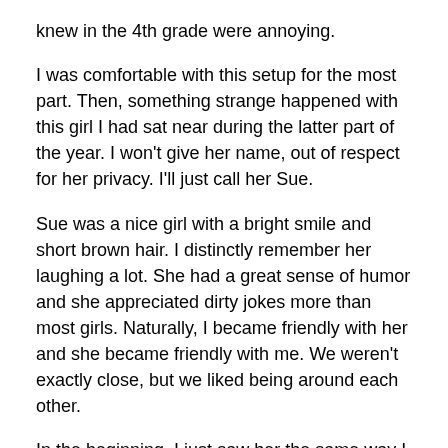knew in the 4th grade were annoying.
I was comfortable with this setup for the most part. Then, something strange happened with this girl I had sat near during the latter part of the year. I won't give her name, out of respect for her privacy. I'll just call her Sue.
Sue was a nice girl with a bright smile and short brown hair. I distinctly remember her laughing a lot. She had a great sense of humor and she appreciated dirty jokes more than most girls. Naturally, I became friendly with her and she became friendly with me. We weren't exactly close, but we liked being around each other.
In the beginning, I just saw her the same way I had seen so many other girls. She was a friend and I liked her. That was it.